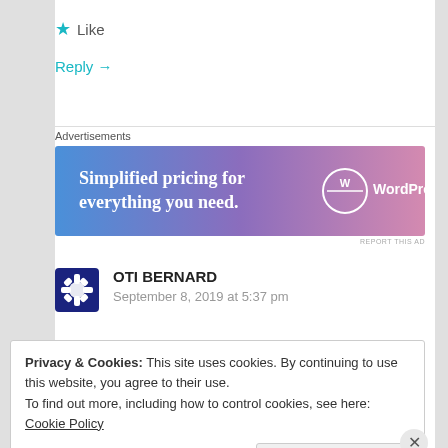★ Like
Reply →
Advertisements
[Figure (illustration): WordPress.com advertisement banner with blue-to-pink gradient background. Text: 'Simplified pricing for everything you need.' with WordPress.com logo on the right.]
REPORT THIS AD
OTI BERNARD
September 8, 2019 at 5:37 pm
Privacy & Cookies: This site uses cookies. By continuing to use this website, you agree to their use.
To find out more, including how to control cookies, see here: Cookie Policy
Close and accept